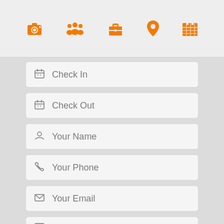[Figure (screenshot): Top navigation bar with 5 orange icons: camera, group of people, briefcase, location pin, calendar]
Check In
Check Out
Your Name
Your Phone
Your Email
I'm interested in this property [ID...